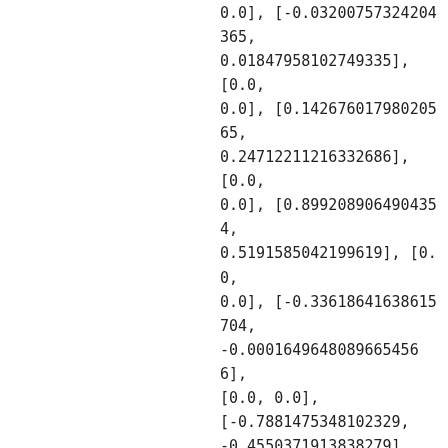0.0], [-0.03200757324204365, 0.01847958102749335], [0.0, 0.0], [0.14267601798020565, 0.24712211216332686], [0.0, 0.0], [0.8992089064904354, 0.5191585042199619], [0.0, 0.0], [-0.3361864163861570, -0.00016496480896654566], [0.0, 0.0], [-0.7881475348102329, -0.4550371913838279], [0.0, 0.0], [0.05894997178600424, 0.10210434623811117], [0.0, 0.0], [0.5799276310177053, -0.3348213737387857414], [0.0, 0.0], [0.0, 1.8656923387324305], [0.0, 0.0], [0.07142857142857142, -0.12371791482634838], [0.0, 0.0], [0.25974060495786205,